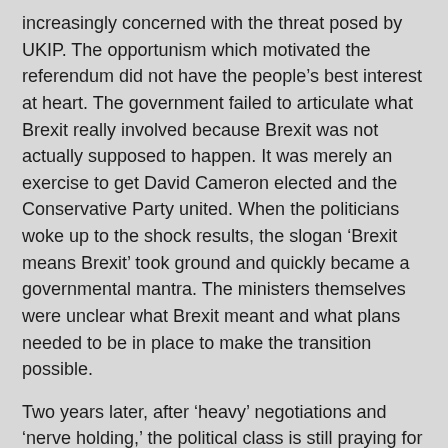increasingly concerned with the threat posed by UKIP. The opportunism which motivated the referendum did not have the people's best interest at heart. The government failed to articulate what Brexit really involved because Brexit was not actually supposed to happen. It was merely an exercise to get David Cameron elected and the Conservative Party united. When the politicians woke up to the shock results, the slogan 'Brexit means Brexit' took ground and quickly became a governmental mantra. The ministers themselves were unclear what Brexit meant and what plans needed to be in place to make the transition possible.
Two years later, after 'heavy' negotiations and 'nerve holding,' the political class is still praying for a miracle from Brussels, stocking paper and ink for the legislative system in need of restructure. In the meantime, millions of people who voted 'pro' or 'against' in 2016 are getting used to the shortage of beds in hospitals, the crowded doctors' surgeries, the pharmacies experiencing delays in orders, the train cancelations, the 'out of order' buses, the increased criminality and suicide rate, the unaffordable houses. Many